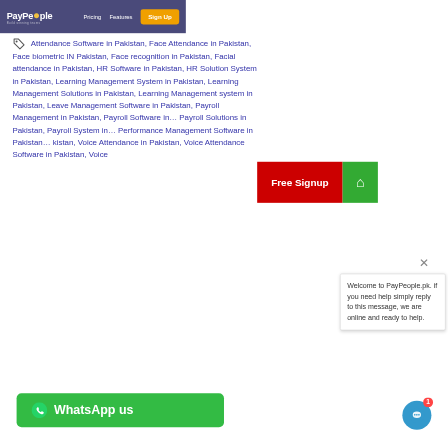PayPeople — Pricing | Features | Sign Up
Attendance Software in Pakistan, Face Attendance in Pakistan, Face biometric IN Pakistan, Face recognition in Pakistan, Facial attendance in Pakistan, HR Software in Pakistan, HR Solutions System in Pakistan, Learning Management System in Pakistan, Learning Management Solutions in Pakistan, Learning Management system in Pakistan, Leave Management Software in Pakistan, Payroll Management in Pakistan, Payroll Software in Pakistan, Payroll Solutions in Pakistan, Payroll System in Pakistan, Performance Management Software in Pakistan, Voice Attendance in Pakistan, Voice Attendance Software in Pakistan, Voice
[Figure (screenshot): Free Signup red button and green home icon button overlay]
Welcome to PayPeople.pk. if you need help simply reply to this message, we are online and ready to help.
[Figure (infographic): WhatsApp us green bar at bottom and chat bubble at bottom right with badge showing 1]